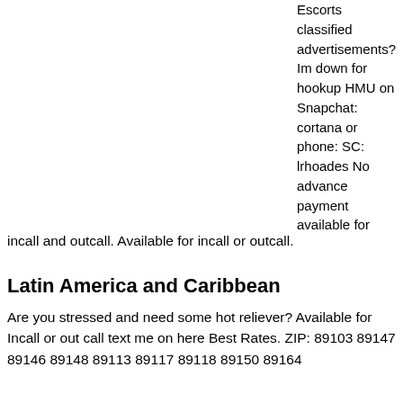Escorts classified advertisements? Im down for hookup HMU on Snapchat: cortana or phone: SC: lrhoades No advance payment available for incall and outcall. Available for incall or outcall.
Latin America and Caribbean
Are you stressed and need some hot reliever? Available for Incall or out call text me on here Best Rates. ZIP: 89103 89147 89146 89148 89113 89117 89118 89150 89164